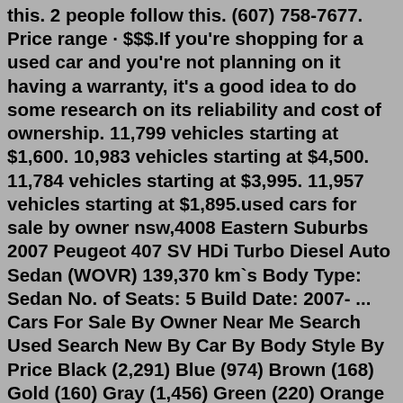this. 2 people follow this. (607) 758-7677. Price range · $$$.If you're shopping for a used car and you're not planning on it having a warranty, it's a good idea to do some research on its reliability and cost of ownership. 11,799 vehicles starting at $1,600. 10,983 vehicles starting at $4,500. 11,784 vehicles starting at $3,995. 11,957 vehicles starting at $1,895.used cars for sale by owner nsw,4008 Eastern Suburbs 2007 Peugeot 407 SV HDi Turbo Diesel Auto Sedan (WOVR) 139,370 km`s Body Type: Sedan No. of Seats: 5 Build Date: 2007- ... Cars For Sale By Owner Near Me Search Used Search New By Car By Body Style By Price Black (2,291) Blue (974) Brown (168) Gold (160) Gray (1,456) Green (220) Orange (101) Pink (3) Purple (29) Red (933) Silver (1,082) Teal (49) White (2,249) Yellow (80) Unknown (147) Acura (93) Alfa Romeo (18) AM General (2) AMC (1) Aston Martin (19) Audi (328)philadelphia for sale "used cars by owner" - craigslistSearch over 68,758 used Cars in Washington, DC. TrueCar has over 813,836 listings nationwide, updated daily. Come find a great